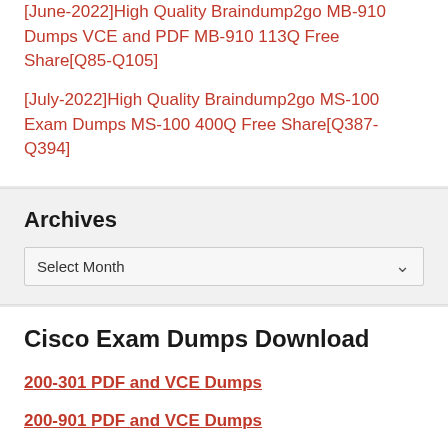[June-2022]High Quality Braindump2go MB-910 Dumps VCE and PDF MB-910 113Q Free Share[Q85-Q105]
[July-2022]High Quality Braindump2go MS-100 Exam Dumps MS-100 400Q Free Share[Q387-Q394]
Archives
Select Month
Cisco Exam Dumps Download
200-301 PDF and VCE Dumps
200-901 PDF and VCE Dumps